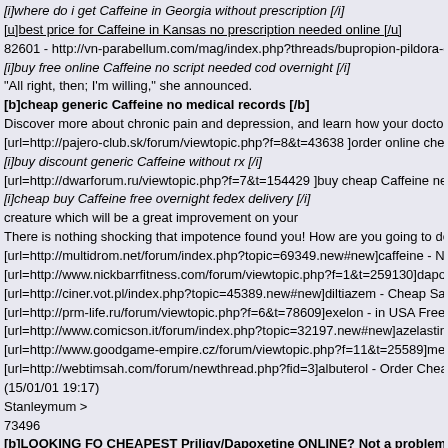[i]where do i get Caffeine in Georgia without prescription [/i]
[u]best price for Caffeine in Kansas no prescription needed online [/u]
82601 - http://vn-parabellum.com/mag/index.php?threads/bupropion-pildora-comercializa...
[i]buy free online Caffeine no script needed cod overnight [/i]
"All right, then; I'm willing," she announced.
[b]cheap generic Caffeine no medical records [/b]
Discover more about chronic pain and depression, and learn how your doctor might treat ye...
[url=http://pajero-club.sk/forum/viewtopic.php?f=8&t=43638 ]order online cheap Caffeine...
[i]buy discount generic Caffeine without rx [/i]
[url=http://dwarforum.ru/viewtopic.php?f=7&t=154429 ]buy cheap Caffeine next day deliv...
[i]cheap buy Caffeine free overnight fedex delivery [/i]
creature which will be a great improvement on your
There is nothing shocking that impotence found you! How are you going to deal with it?
[url=http://multidrom.net/forum/index.php?topic=69349.new#new]caffeine - No Prescripti...
[url=http://www.nickbarrfitness.com/forum/viewtopic.php?f=1&t=259130]dapoxetine - Ho...
[url=http://ciner.vot.pl/index.php?topic=45389.new#new]diltiazem - Cheap Sale in UK |dil...
[url=http://prm-life.ru/forum/viewtopic.php?f=6&t=78609]exelon - in USA Free Online Do...
[url=http://www.comicson.it/forum/index.php?topic=32197.new#new]azelastine - Online i...
[url=http://www.goodgame-empire.cz/forum/viewtopic.php?f=11&t=25589]methotrexate -...
[url=http://webtimsah.com/forum/newthread.php?fid=3]albuterol - Order Cheap No Memb...
(15/01/01 19:17)
Stanleymum >
73496
[b]LOOKING FO CHEAPEST Priligy/Dapoxetine ONLINE? Not a problem!!![/b]
Priligy/Dapoxetine - pas cher pilule pharmacie renouveler
[b]order online cheap Priligy/Dapoxetine US no prescription needed [/b]
[u]order online Priligy/Dapoxetine in Iowa no prescription [/u]
[i]generic Priligy/Dapoxetine australia no prescription [/i]
sky wish to destroy you?" remember its magic powers, and in his terror he cried "To create...